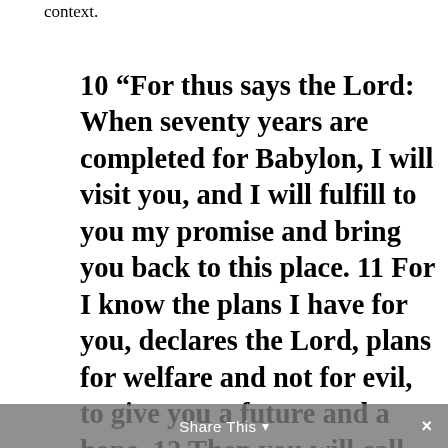context.
10 “For thus says the Lord: When seventy years are completed for Babylon, I will visit you, and I will fulfill to you my promise and bring you back to this place. 11 For I know the plans I have for you, declares the Lord, plans for welfare and not for evil, to give you a future and a hope. 12 Then you will call
Share This